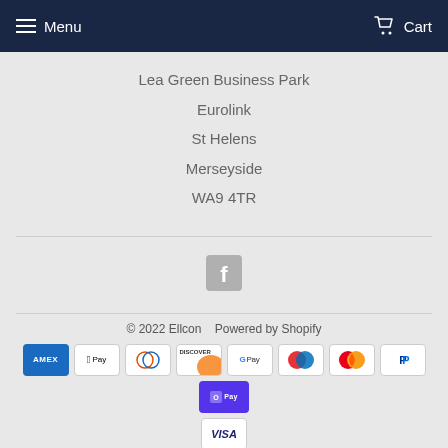Menu   Cart
Lea Green Business Park
Eurolink
St Helens
Merseyside
WA9 4TR
[Figure (logo): Facebook icon (gray F logo)]
© 2022 Ellcon   Powered by Shopify
[Figure (infographic): Payment method icons: Amex, Apple Pay, Diners Club, Discover, Google Pay, Maestro, Mastercard, PayPal, Shop Pay, Visa]